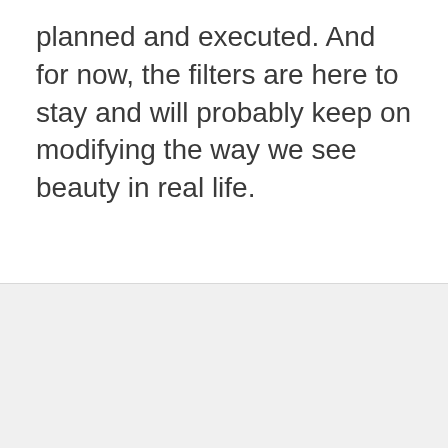planned and executed. And for now, the filters are here to stay and will probably keep on modifying the way we see beauty in real life.
ADVERTISEMENT